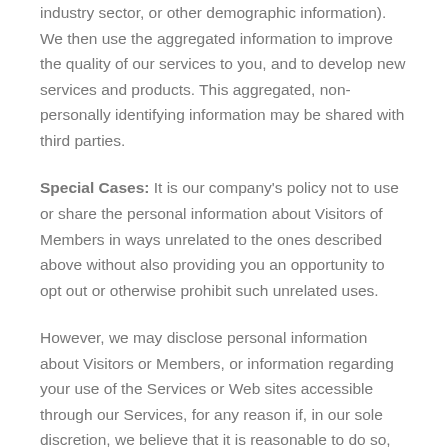industry sector, or other demographic information). We then use the aggregated information to improve the quality of our services to you, and to develop new services and products. This aggregated, non-personally identifying information may be shared with third parties.
Special Cases: It is our company's policy not to use or share the personal information about Visitors of Members in ways unrelated to the ones described above without also providing you an opportunity to opt out or otherwise prohibit such unrelated uses.
However, we may disclose personal information about Visitors or Members, or information regarding your use of the Services or Web sites accessible through our Services, for any reason if, in our sole discretion, we believe that it is reasonable to do so, including: credit agencies, collection agencies, merchant database